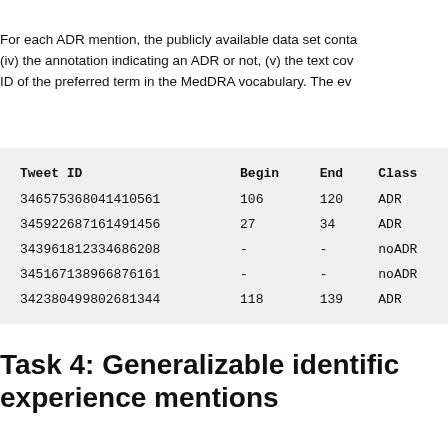For each ADR mention, the publicly available data set conta (iv) the annotation indicating an ADR or not, (v) the text cov ID of the preferred term in the MedDRA vocabulary. The ev
| Tweet ID | Begin | End | Class |
| --- | --- | --- | --- |
| 346575368041410561 | 106 | 120 | ADR |
| 345922687161491456 | 27 | 34 | ADR |
| 343961812334686208 | - | - | noADR |
| 345167138966876161 | - | - | noADR |
| 342380499802681344 | 118 | 139 | ADR |
Task 4: Generalizable identific experience mentions